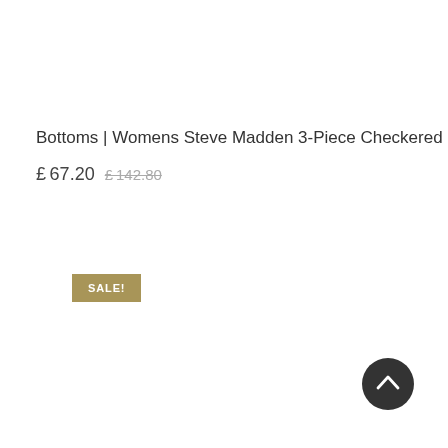Bottoms | Womens Steve Madden 3-Piece Checkered Brown
£ 67.20  £142.80
SALE!
[Figure (other): Scroll-to-top button: dark circular button with upward chevron arrow]